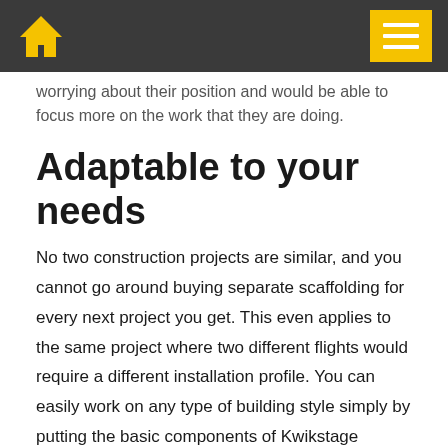[Home icon] [Menu button]
worrying about their position and would be able to focus more on the work that they are doing.
Adaptable to your needs
No two construction projects are similar, and you cannot go around buying separate scaffolding for every next project you get. This even applies to the same project where two different flights would require a different installation profile. You can easily work on any type of building style simply by putting the basic components of Kwikstage scaffolding to use in different ways. This can save capital investment and your running expenses and, most importantly, save a lot of time.
Simplicity allows easy